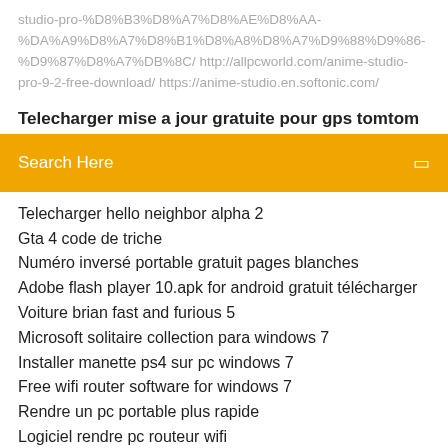studio-pro-%D8%B3%D8%A7%D8%AE%D8%AA-%DA%A9%D8%A7%D8%B1%D8%A8%D8%A7%D9%88%D9%86-%D9%87%D8%A7%DB%8C/ http://allpcworld.com/anime-studio-pro-9-2-free-download/ https://anime-studio.en.softonic.com/
Telecharger mise a jour gratuite pour gps tomtom
Search Here
Telecharger hello neighbor alpha 2
Gta 4 code de triche
Numéro inversé portable gratuit pages blanches
Adobe flash player 10.apk for android gratuit télécharger
Voiture brian fast and furious 5
Microsoft solitaire collection para windows 7
Installer manette ps4 sur pc windows 7
Free wifi router software for windows 7
Rendre un pc portable plus rapide
Logiciel rendre pc routeur wifi